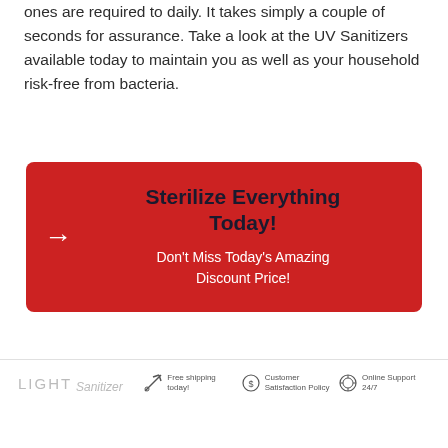ones are required to daily. It takes simply a couple of seconds for assurance. Take a look at the UV Sanitizers available today to maintain you as well as your household risk-free from bacteria.
[Figure (infographic): Red CTA box with arrow icon, bold headline 'Sterilize Everything Today!', and subtext 'Don't Miss Today's Amazing Discount Price!']
LIGHTSanitizer  Free shipping today!  Customer Satisfaction Policy  Online Support 24/7